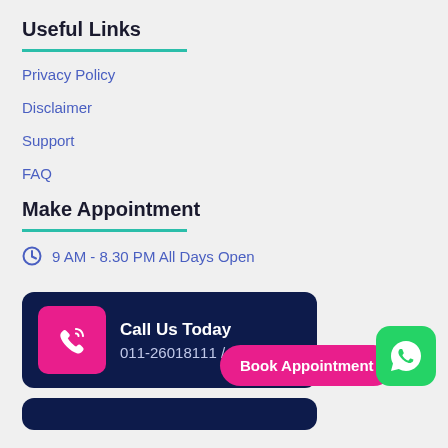Useful Links
Privacy Policy
Disclaimer
Support
FAQ
Make Appointment
9 AM - 8.30 PM All Days Open
Call Us Today
011-26018111 / 333
Book Appointment